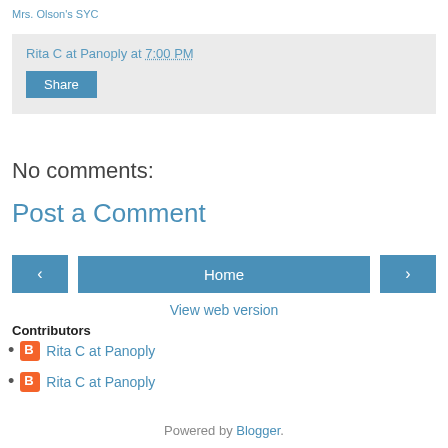Mrs. Olson's SYC
Rita C at Panoply at 7:00 PM
Share
No comments:
Post a Comment
< Home >
View web version
Contributors
Rita C at Panoply
Rita C at Panoply
Powered by Blogger.